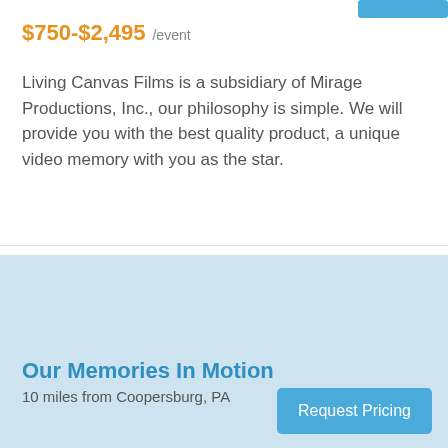$750-$2,495 /event
Living Canvas Films is a subsidiary of Mirage Productions, Inc., our philosophy is simple. We will provide you with the best quality product, a unique video memory with you as the star.
[Figure (map): Light blue map area placeholder]
Our Memories In Motion
10 miles from Coopersburg, PA